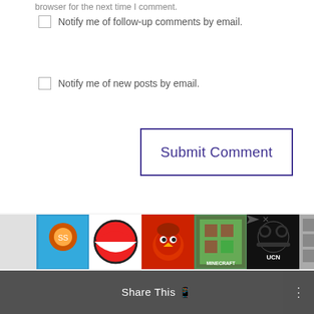browser for the next time I comment.
Notify me of follow-up comments by email.
Notify me of new posts by email.
Submit Comment
2
Hi! We're Kristen + Liz
[Figure (screenshot): Ad banner with app icons including Subway Surfers, Pokeball, Angry Birds, Minecraft, UCN, and other game icons with a close/skip button]
Share This